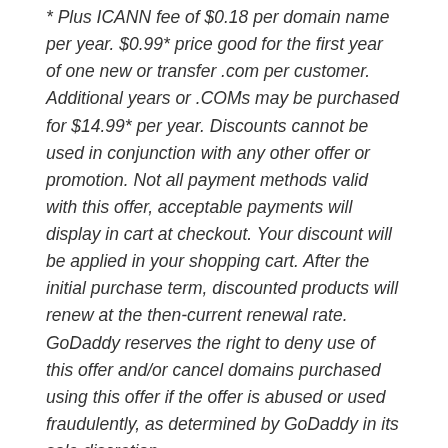* Plus ICANN fee of $0.18 per domain name per year. $0.99* price good for the first year of one new or transfer .com per customer. Additional years or .COMs may be purchased for $14.99* per year. Discounts cannot be used in conjunction with any other offer or promotion. Not all payment methods valid with this offer, acceptable payments will display in cart at checkout. Your discount will be applied in your shopping cart. After the initial purchase term, discounted products will renew at the then-current renewal rate. GoDaddy reserves the right to deny use of this offer and/or cancel domains purchased using this offer if the offer is abused or used fraudulently, as determined by GoDaddy in its sole discretion.
Posted in Domain News on January 12, 2017. 1 Comment
NON-HUMAN TRAFFIC (NUT) AND ONLINE AD